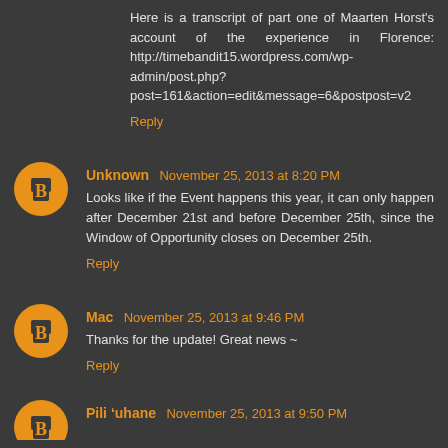Here is a transcript of part one of Maarten Horst's account of the experience in Florence: http://timebandit15.wordpress.com/wp-admin/post.php?post=161&action=edit&message=6&postpost=v2
Reply
Unknown November 25, 2013 at 8:20 PM
Looks like if the Event happens this year, it can only happen after December 21st and before December 25th, since the Window of Opportunity closes on December 25th.
Reply
Mac November 25, 2013 at 9:46 PM
Thanks for the update! Great news ~
Reply
Pili 'uhane November 25, 2013 at 9:50 PM